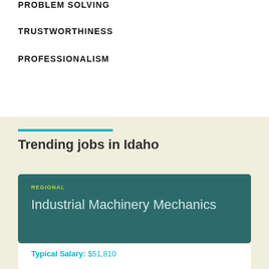PROBLEM SOLVING
TRUSTWORTHINESS
PROFESSIONALISM
Trending jobs in Idaho
REGIONAL
Industrial Machinery Mechanics
Typical Salary: $51,810